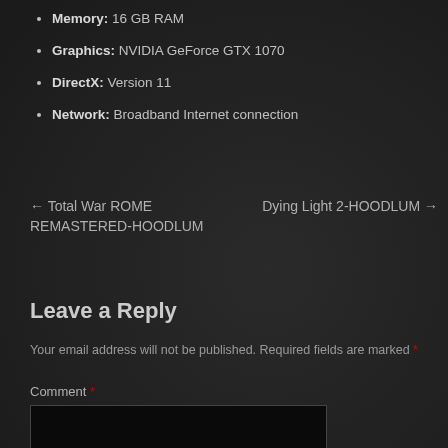Memory: 16 GB RAM
Graphics: NVIDIA GeForce GTX 1070
DirectX: Version 11
Network: Broadband Internet connection
← Total War ROME REMASTERED-HOODLUM
Dying Light 2-HOODLUM →
Leave a Reply
Your email address will not be published. Required fields are marked *
Comment *